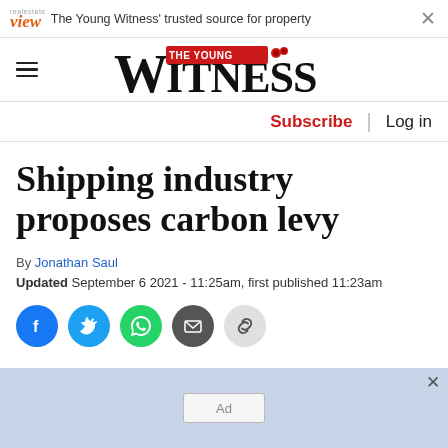The Young Witness' trusted source for property
[Figure (logo): The Young Witness newspaper logo with 'THE YOUNG' in a red box above the large W in WITNESS]
Subscribe | Log in
Shipping industry proposes carbon levy
By Jonathan Saul
Updated September 6 2021 - 11:25am, first published 11:23am
[Figure (infographic): Social share buttons: Facebook, Twitter, WhatsApp, Email, Copy link]
[Figure (other): Advertisement placeholder box labeled Ad]